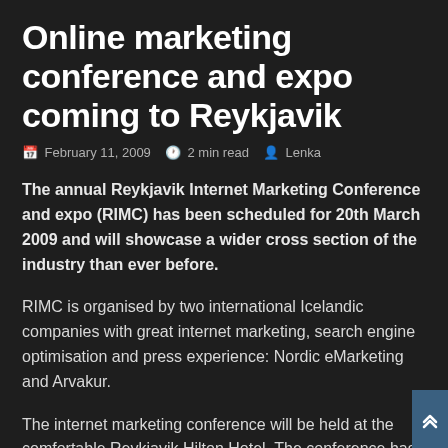Online marketing conference and expo coming to Reykjavik
February 11, 2009   2 min read   Lenka
The annual Reykjavik Internet Marketing Conference and expo (RIMC) has been scheduled for 20th March 2009 and will showcase a wider cross section of the industry than ever before.
RIMC is organised by two international Icelandic companies with great internet marketing, search engine optimisation and press experience: Nordic eMarketing and Arvakur.
The internet marketing conference will be held at the comfortable Reykjavik Hilton Hotel. The conference has upgraded its venue this time around in a show of